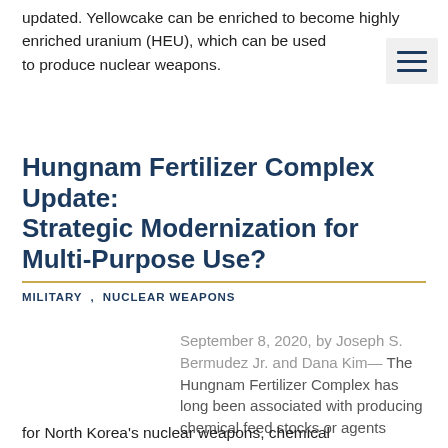updated. Yellowcake can be enriched to become highly enriched uranium (HEU), which can be used to produce nuclear weapons.
Hungnam Fertilizer Complex Update: Strategic Modernization for Multi-Purpose Use?
MILITARY , NUCLEAR WEAPONS
September 8, 2020, by Joseph S. Bermudez Jr. and Dana Kim— The Hungnam Fertilizer Complex has long been associated with producing chemical feed stocks or agents for North Korea's nuclear weapons, chemical
for North Korea's nuclear weapons, chemical